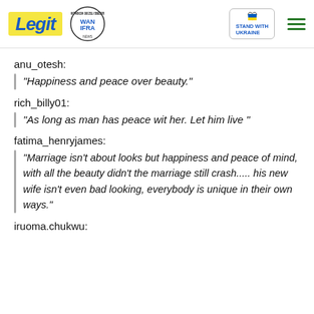Legit | WAN IFRA 2021 Best News Website in Africa | Stand with Ukraine
anu_otesh:
"Happiness and peace over beauty."
rich_billy01:
"As long as man has peace wit her. Let him live "
fatima_henryjames:
"Marriage isn't about looks but happiness and peace of mind, with all the beauty didn't the marriage still crash..... his new wife isn't even bad looking, everybody is unique in their own ways."
iruoma.chukwu: